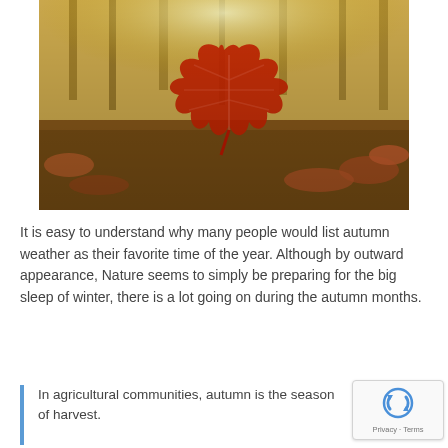[Figure (photo): Close-up photograph of a large red maple leaf lying on the ground among other fallen autumn leaves, with trees and golden foliage visible in the blurred background.]
It is easy to understand why many people would list autumn weather as their favorite time of the year. Although by outward appearance, Nature seems to simply be preparing for the big sleep of winter, there is a lot going on during the autumn months.
In agricultural communities, autumn is the season of harvest.